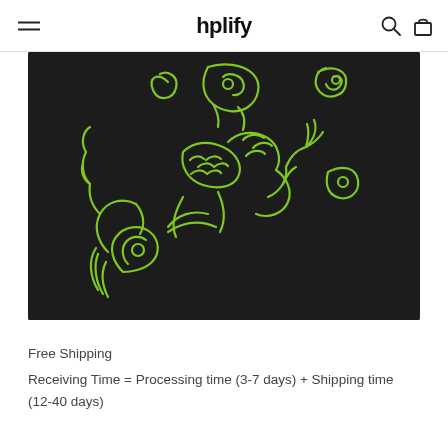hplify
[Figure (photo): Close-up photo of black fabric with bright green embroidered dragon/koi fish design pattern]
Free Shipping
Receiving Time = Processing time (3-7 days) + Shipping time (12-40 days)